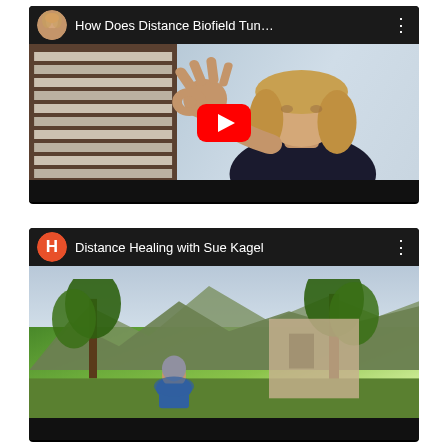[Figure (screenshot): YouTube video thumbnail card for 'How Does Distance Biofield Tun...' showing a woman with blonde hair making an OK hand gesture, with a YouTube play button overlay. Channel avatar shows a woman's photo.]
[Figure (screenshot): YouTube video thumbnail card for 'Distance Healing with Sue Kagel' showing an outdoor desert/garden scene with trees and a person in blue. Channel avatar is an orange circle with letter H.]